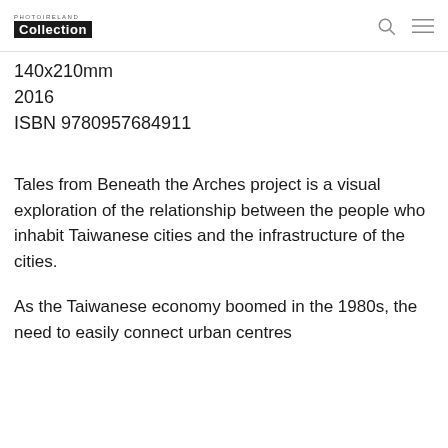PHOTOIRELAND Collection
140x210mm
2016
ISBN 9780957684911
Tales from Beneath the Arches project is a visual exploration of the relationship between the people who inhabit Taiwanese cities and the infrastructure of the cities.
As the Taiwanese economy boomed in the 1980s, the need to easily connect urban centres